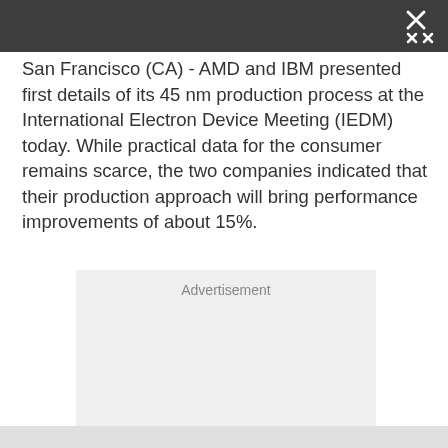San Francisco (CA) - AMD and IBM presented first details of its 45 nm production process at the International Electron Device Meeting (IEDM) today. While practical data for the consumer remains scarce, the two companies indicated that their production approach will bring performance improvements of about 15%.
[Figure (other): Advertisement placeholder box with light gray background and 'Advertisement' label at top center]